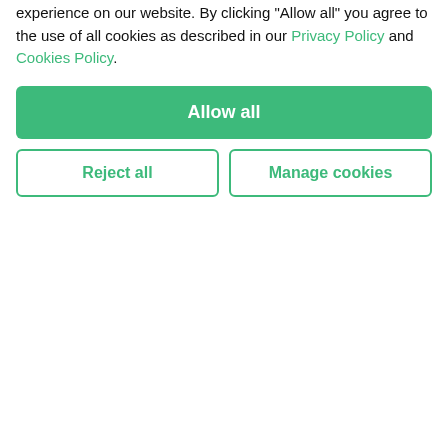CANNA connection
| STRAINS | GROW | USE 101 | CULTURE | CBD | MAPS |
| --- | --- | --- | --- | --- | --- |
LA MOSA: CEREBRAL HIGH WITH A DARK-CHOCOLATE TASTE
For avid cannabis growers, an autoflowering, high-yielding strain would be an instant favorite. And this
OUR COOKIES
We use small text files, known as cookies, to improve your experience on our website. By clicking "Allow all" you agree to the use of all cookies as described in our Privacy Policy and Cookies Policy.
Allow all
Reject all
Manage cookies